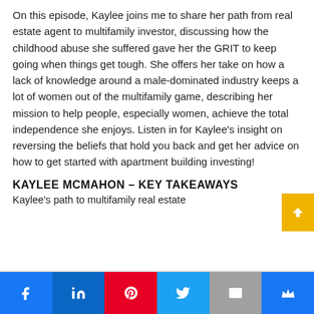On this episode, Kaylee joins me to share her path from real estate agent to multifamily investor, discussing how the childhood abuse she suffered gave her the GRIT to keep going when things get tough. She offers her take on how a lack of knowledge around a male-dominated industry keeps a lot of women out of the multifamily game, describing her mission to help people, especially women, achieve the total independence she enjoys. Listen in for Kaylee's insight on reversing the beliefs that hold you back and get her advice on how to get started with apartment building investing!
KAYLEE MCMAHON – KEY TAKEAWAYS
Kaylee's path to multifamily real estate
[Figure (other): Social sharing footer bar with icons: Facebook (blue), LinkedIn (blue), Pinterest (red), Twitter (light blue), Email (gray), Crown/bookmark (blue)]